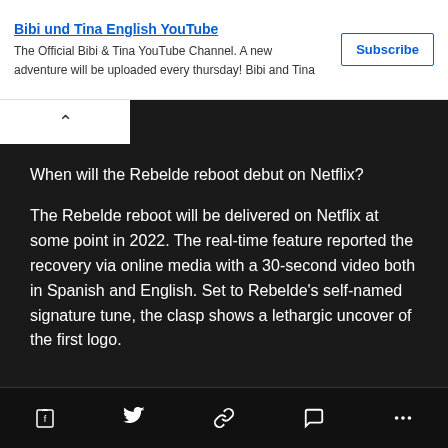Bibi und Tina English YouTube. The Official Bibi & Tina YouTube Channel. A new adventure will be uploaded every thursday! Bibi and Tina
Subscribe
When will the Rebelde reboot debut on Netflix?
The Rebelde reboot will be delivered on Netflix at some point in 2022. The real-time feature reported the recovery via online media with a 30-second video both in Spanish and English. Set to Rebelde's self-named signature tune, the clasp shows a lethargic uncover of the first logo.